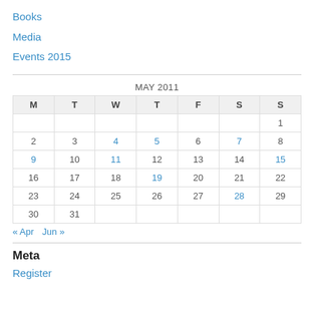Books
Media
Events 2015
| M | T | W | T | F | S | S |
| --- | --- | --- | --- | --- | --- | --- |
|  |  |  |  |  |  | 1 |
| 2 | 3 | 4 | 5 | 6 | 7 | 8 |
| 9 | 10 | 11 | 12 | 13 | 14 | 15 |
| 16 | 17 | 18 | 19 | 20 | 21 | 22 |
| 23 | 24 | 25 | 26 | 27 | 28 | 29 |
| 30 | 31 |  |  |  |  |  |
« Apr   Jun »
Meta
Register